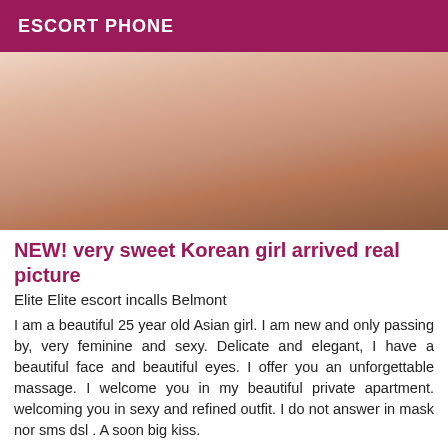ESCORT PHONE
[Figure (photo): Photo of a young Asian woman seated, wearing a light pink outfit with spaghetti straps and a ribbon tie, photographed from the torso down, seated on a wooden floor near a sofa.]
NEW! very sweet Korean girl arrived real picture
Elite Elite escort incalls Belmont
I am a beautiful 25 year old Asian girl. I am new and only passing by, very feminine and sexy. Delicate and elegant, I have a beautiful face and beautiful eyes. I offer you an unforgettable massage. I welcome you in my beautiful private apartment. welcoming you in sexy and refined outfit. I do not answer in mask nor sms dsl . A soon big kiss.